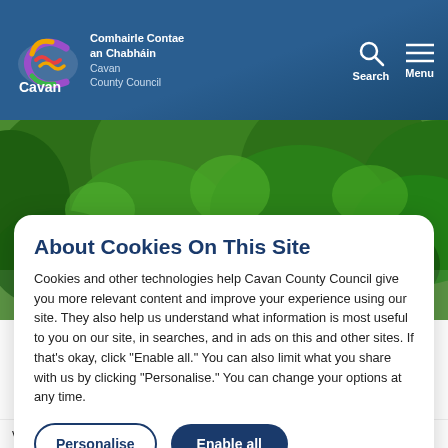[Figure (logo): Cavan County Council logo with multicolour wave mark and text: Comhairle Contae an Chabháin, Cavan County Council]
[Figure (photo): Green leafy trees nature background photo]
About Cookies On This Site
Cookies and other technologies help Cavan County Council give you more relevant content and improve your experience using our site. They also help us understand what information is most useful to you on our site, in searches, and in ads on this and other sites. If that’s okay, click “Enable all.” You can also limit what you share with us by clicking “Personalise.” You can change your options at any time.
Personalise
Enable all
valid certificate of compliance. Any such operators should